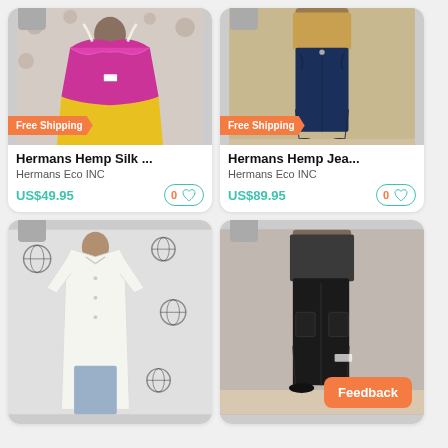[Figure (photo): Product photo of Hermans Hemp Silk item on mannequin, back view, magenta/pink silk top with yellow skirt, Free Shipping badge]
Hermans Hemp Silk ...
Hermans Eco INC
US$49.95
[Figure (photo): Product photo of Hermans Hemp Jeans on mannequin, dark navy denim jeans, Free Shipping badge]
Hermans Hemp Jea...
Hermans Eco INC
US$89.95
[Figure (photo): Product photo of white hemp garment on mannequin with globe print decorations]
[Figure (photo): Product photo of black hemp pants on mannequin with Feedback button overlay]